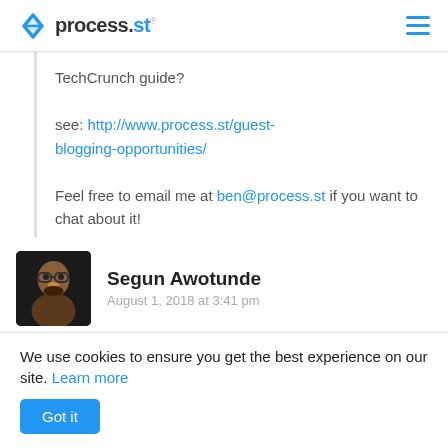process.st
TechCrunch guide?

see: http://www.process.st/guest-blogging-opportunities/

Feel free to email me at ben@process.st if you want to chat about it!
Segun Awotunde
August 1, 2018 at 3:41 pm
We use cookies to ensure you get the best experience on our site. Learn more
Got it